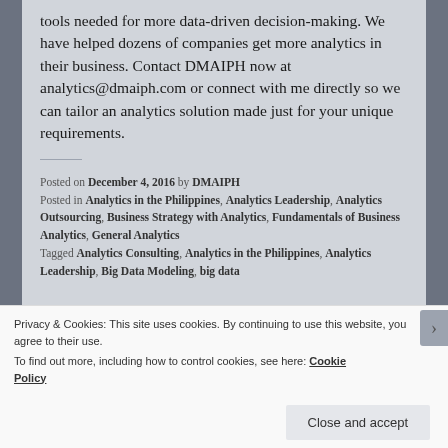tools needed for more data-driven decision-making. We have helped dozens of companies get more analytics in their business. Contact DMAIPH now at analytics@dmaiph.com or connect with me directly so we can tailor an analytics solution made just for your unique requirements.
Posted on December 4, 2016 by DMAIPH
Posted in Analytics in the Philippines, Analytics Leadership, Analytics Outsourcing, Business Strategy with Analytics, Fundamentals of Business Analytics, General Analytics
Tagged Analytics Consulting, Analytics in the Philippines, Analytics Leadership, Big Data Modeling, big data...
Privacy & Cookies: This site uses cookies. By continuing to use this website, you agree to their use.
To find out more, including how to control cookies, see here: Cookie Policy
Close and accept